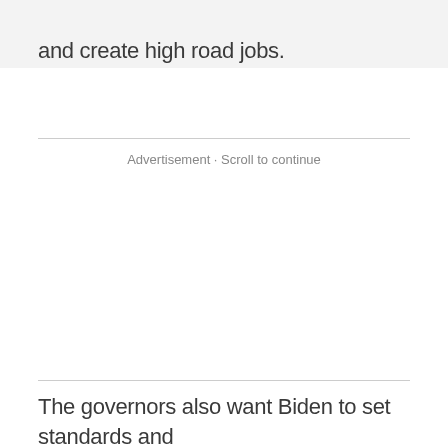and create high road jobs.
Advertisement · Scroll to continue
The governors also want Biden to set standards and